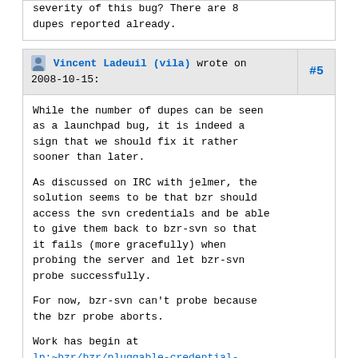severity of this bug? There are 8 dupes reported already.
Vincent Ladeuil (vila) wrote on 2008-10-15: #5

While the number of dupes can be seen as a launchpad bug, it is indeed a sign that we should fix it rather sooner than later.

As discussed on IRC with jelmer, the solution seems to be that bzr should access the svn credentials and be able to give them back to bzr-svn so that it fails (more gracefully) when probing the server and let bzr-svn probe successfully.

For now, bzr-svn can't probe because the bzr probe aborts.

Work has begin at lp:~bzr/bzr/pluggable-credential-stores. The idea is to allow bzr-svn to...